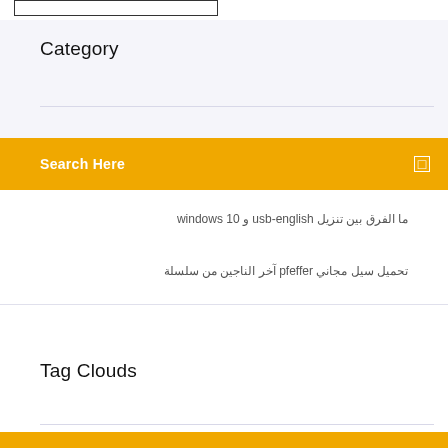[Figure (screenshot): Top rectangle input box outline]
Category
Search Here
ما الفرق بين تنزيل usb-english و windows 10
تحميل سيل مجاني pfeffer آخر الناجين من سلسلة
Tag Clouds